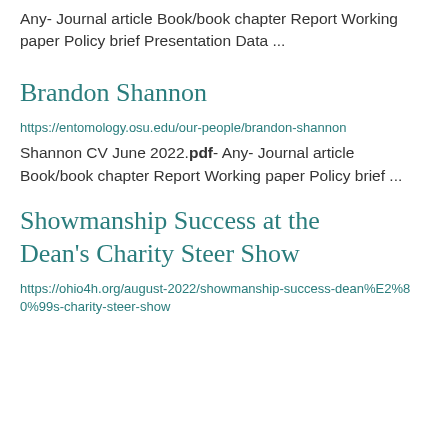Any- Journal article Book/book chapter Report Working paper Policy brief Presentation Data ...
Brandon Shannon
https://entomology.osu.edu/our-people/brandon-shannon
Shannon CV June 2022.pdf- Any- Journal article Book/book chapter Report Working paper Policy brief ...
Showmanship Success at the Dean's Charity Steer Show
https://ohio4h.org/august-2022/showmanship-success-dean%E2%80%99s-charity-steer-show